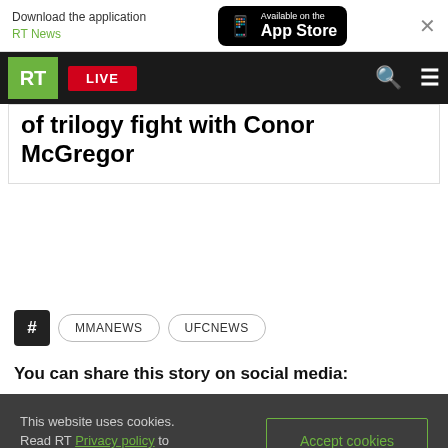Download the application RT News — Available on the App Store
RT LIVE
of trilogy fight with Conor McGregor
#MMANEWS
#UFCNEWS
You can share this story on social media:
This website uses cookies. Read RT Privacy policy to find out more. Accept cookies